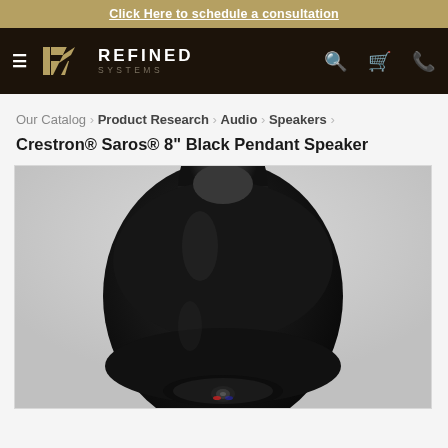Click Here to schedule a consultation
[Figure (logo): Refined Systems logo with stylized R icon in gold on dark background, with hamburger menu, search, cart, and phone icons]
Our Catalog › Product Research › Audio › Speakers ›
Crestron® Saros® 8" Black Pendant Speaker
[Figure (photo): Close-up top-down view of a black Crestron Saros 8 inch pendant speaker with matte black teardrop/egg-shaped enclosure, showing the speaker grille at the bottom]